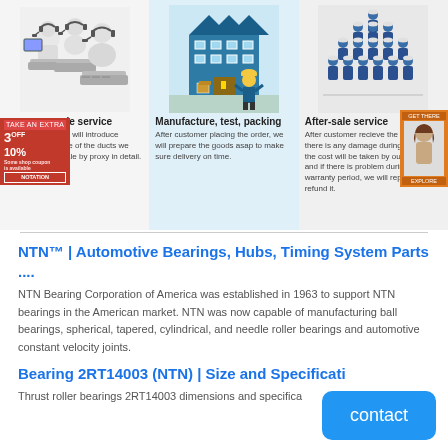[Figure (illustration): Three cartoon white figures with headsets sitting at computers - customer service representatives]
[Figure (illustration): Illustration of a factory/warehouse building with a worker in a hard hat - manufacture, test, packing]
[Figure (illustration): Group of workers in blue uniforms/hard hats standing together - after-sale service team]
-sale service
professional sales will introduce tructure and usage of the ducts we manufacture or sale by proxy in detail. 24/7 is available.
Manufacture, test, packing
After customer placing the order, we will prepare the goods asap to make sure delivery on time.
After-sale service
After customer recieve the goods, if there is any damage during delivery, the cost will be taken by our company, and if there is problem during the warranty period, we will replace or refund it.
[Figure (infographic): Red promotional badge showing TAKE AN EXTRA 3OFF 10% discount offer with NOTATION button]
[Figure (photo): Right side advertisement banner with woman photo and GET THERE button]
NTN™ | Automotive Bearings, Hubs, Timing System Parts ....
NTN Bearing Corporation of America was established in 1963 to support NTN bearings in the American market. NTN was now capable of manufacturing ball bearings, spherical, tapered, cylindrical, and needle roller bearings and automotive constant velocity joints.
Bearing 2RT14003 (NTN) | Size and Specificati
Thrust roller bearings 2RT14003 dimensions and specifica
[Figure (infographic): Blue contact button overlay]